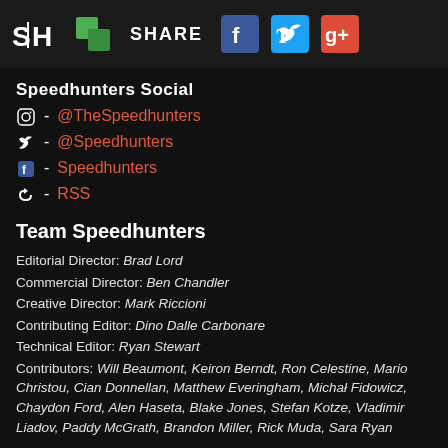SH [logo] [share icon] SHARE [Facebook] [Twitter] [Google+]
Speedhunters Social
Instagram - @TheSpeedhunters
Twitter - @Speedhunters
Facebook - Speedhunters
RSS - RSS
Team Speedhunters
Editorial Director: Brad Lord
Commercial Director: Ben Chandler
Creative Director: Mark Riccioni
Contributing Editor: Dino Dalle Carbonare
Technical Editor: Ryan Stewart
Contributors: Will Beaumont, Keiron Berndt, Ron Celestine, Mario Christou, Cian Donnellan, Matthew Everingham, Michał Fidowicz, Chaydon Ford, Alen Haseta, Blake Jones, Stefan Kotze, Vladimir Liadov, Paddy McGrath, Brandon Miller, Rick Muda, Sara Ryan